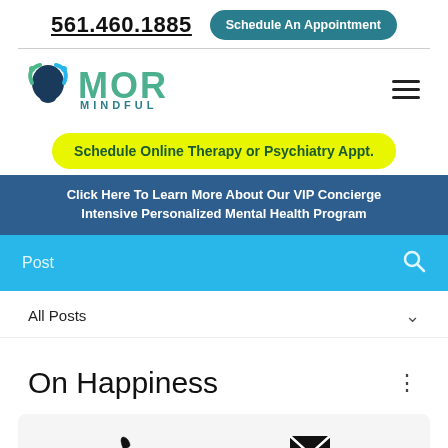561.460.1885   Schedule An Appointment
[Figure (logo): MOR Mindful logo with stylized head silhouette in teal and green, with text MOR MINDFUL]
Schedule Online Therapy or Psychiatry Appt.
Click Here To Learn More About Our VIP Concierge Intensive Personalized Mental Health Program
Post
All Posts
On Happiness
[Figure (infographic): Bottom card with phone and email icons]